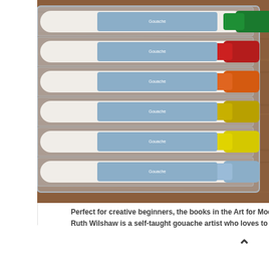[Figure (photo): A clear plastic tray containing multiple gouache paint tubes arranged in rows, each tube showing a different color cap (green, red, orange, yellow, light blue/white), placed on a wooden surface. The image is cropped showing the right portion of the tray.]
Perfect for creative beginners, the books in the Art for Modern Makers
Ruth Wilshaw is a self-taught gouache artist who loves to encourage c